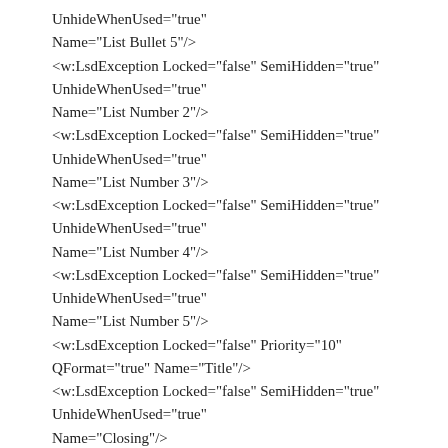UnhideWhenUsed="true"
Name="List Bullet 5"/>
<w:LsdException Locked="false" SemiHidden="true"
UnhideWhenUsed="true"
Name="List Number 2"/>
<w:LsdException Locked="false" SemiHidden="true"
UnhideWhenUsed="true"
Name="List Number 3"/>
<w:LsdException Locked="false" SemiHidden="true"
UnhideWhenUsed="true"
Name="List Number 4"/>
<w:LsdException Locked="false" SemiHidden="true"
UnhideWhenUsed="true"
Name="List Number 5"/>
<w:LsdException Locked="false" Priority="10"
QFormat="true" Name="Title"/>
<w:LsdException Locked="false" SemiHidden="true"
UnhideWhenUsed="true"
Name="Closing"/>